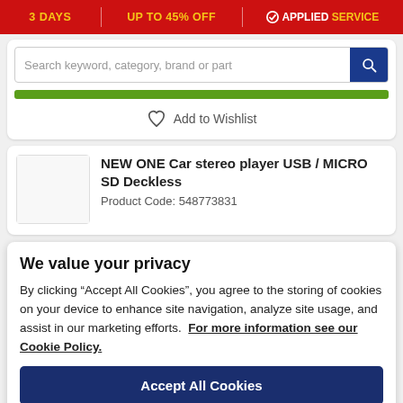3 DAYS | UP TO 45% OFF | ✓ APPLIED SERVICE
Search keyword, category, brand or part
Add to Wishlist
NEW ONE Car stereo player USB / MICRO SD Deckless
Product Code: 548773831
We value your privacy
By clicking “Accept All Cookies”, you agree to the storing of cookies on your device to enhance site navigation, analyze site usage, and assist in our marketing efforts.  For more information see our Cookie Policy.
Accept All Cookies
Cookies Settings